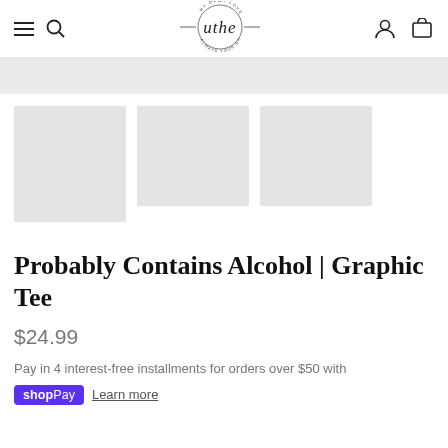Navigation header with hamburger menu, search icon, brand logo (uthe), account icon, and cart icon
[Figure (other): Gray banner placeholder strip]
[Figure (photo): Three gray placeholder thumbnail image squares]
Probably Contains Alcohol | Graphic Tee
$24.99
Pay in 4 interest-free installments for orders over $50 with
shopPay  Learn more